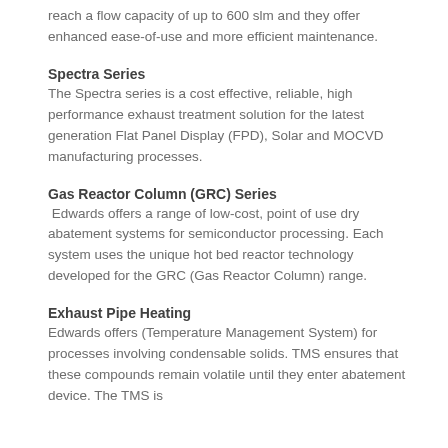reach a flow capacity of up to 600 slm and they offer enhanced ease-of-use and more efficient maintenance.
Spectra Series
The Spectra series is a cost effective, reliable, high performance exhaust treatment solution for the latest generation Flat Panel Display (FPD), Solar and MOCVD manufacturing processes.
Gas Reactor Column (GRC) Series
Edwards offers a range of low-cost, point of use dry abatement systems for semiconductor processing. Each system uses the unique hot bed reactor technology developed for the GRC (Gas Reactor Column) range.
Exhaust Pipe Heating
Edwards offers (Temperature Management System) for processes involving condensable solids. TMS ensures that these compounds remain volatile until they enter abatement device. The TMS is